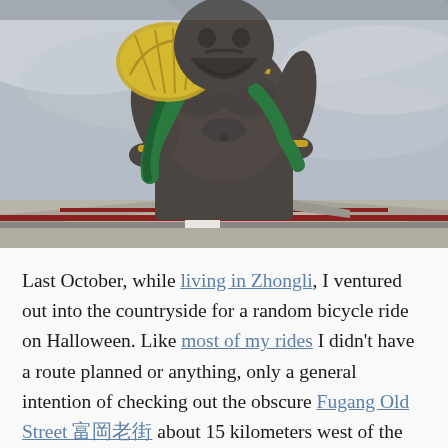[Figure (photo): Close-up photograph of a large painted statue of a muscular figure with a beard, holding a green sash and a golden fan, seated atop a weathered building roofline with a red trim against a cloudy grey sky.]
Last October, while living in Zhongli, I ventured out into the countryside for a random bicycle ride on Halloween. Like most of my rides I didn't have a route planned or anything, only a general intention of checking out the obscure Fugang Old Street 富岡老街 about 15 kilometers west of the city. Along the way I followed my intuition